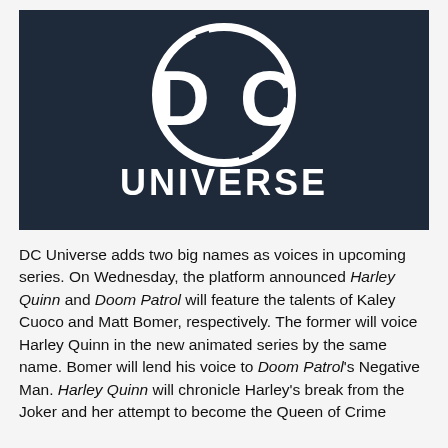[Figure (logo): DC Universe logo on dark navy background — white circle with 'DC' letters and 'UNIVERSE' text below in bold white]
DC Universe adds two big names as voices in upcoming series. On Wednesday, the platform announced Harley Quinn and Doom Patrol will feature the talents of Kaley Cuoco and Matt Bomer, respectively. The former will voice Harley Quinn in the new animated series by the same name. Bomer will lend his voice to Doom Patrol's Negative Man. Harley Quinn will chronicle Harley's break from the Joker and her attempt to become the Queen of Crime